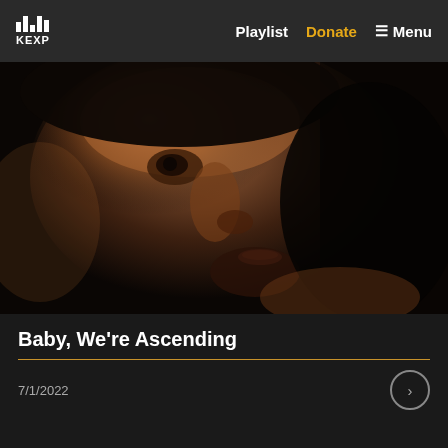KEXP  Playlist  Donate  Menu
[Figure (photo): Close-up portrait of a man with dark stubble and short dark hair, looking upward against a dark background, dramatic lighting highlighting his face]
Baby, We're Ascending
7/1/2022
Musical notes, inspiring quotes, and songs that make you float from Sneaker Pimps, Automatic, The Reds, Pinks and Purples, and more.. Subscribe: .&nbsp;&...